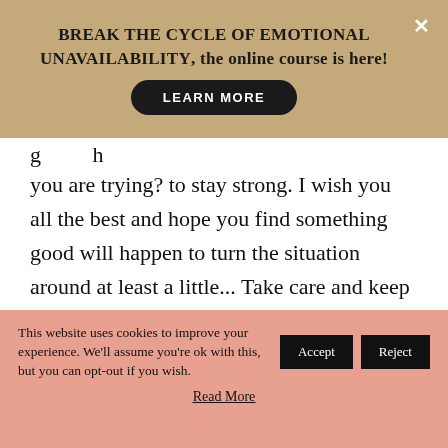BREAK THE CYCLE OF EMOTIONAL UNAVAILABILITY, the online course is here! LEARN MORE
g h you are trying? to stay strong. I wish you all the best and hope you find something good will happen to turn the situation around at least a little... Take care and keep going.!
This website uses cookies to improve your experience. We'll assume you're ok with this, but you can opt-out if you wish. Accept Reject
Read More